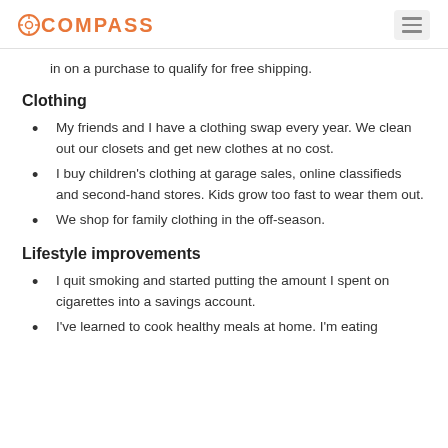COMPASS
in on a purchase to qualify for free shipping.
Clothing
My friends and I have a clothing swap every year. We clean out our closets and get new clothes at no cost.
I buy children's clothing at garage sales, online classifieds and second-hand stores. Kids grow too fast to wear them out.
We shop for family clothing in the off-season.
Lifestyle improvements
I quit smoking and started putting the amount I spent on cigarettes into a savings account.
I've learned to cook healthy meals at home. I'm eating